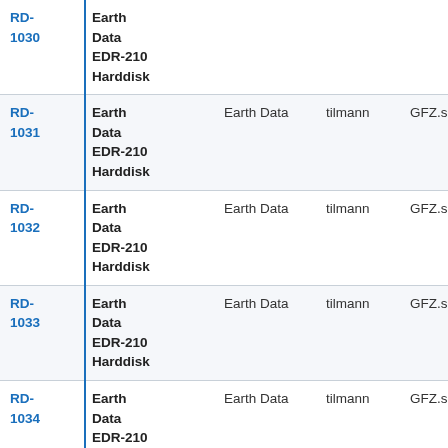| ID | Name | Type | User | Security | Status |
| --- | --- | --- | --- | --- | --- |
| RD-1030 | Earth Data EDR-210 Harddisk | Earth Data | tilmann | GFZ.sec24 | OK |
| RD-1031 | Earth Data EDR-210 Harddisk | Earth Data | tilmann | GFZ.sec24 | OK |
| RD-1032 | Earth Data EDR-210 Harddisk | Earth Data | tilmann | GFZ.sec24 | OK |
| RD-1033 | Earth Data EDR-210 Harddisk | Earth Data | tilmann | GFZ.sec24 | OK |
| RD-1034 | Earth Data EDR-210 Harddisk | Earth Data | tilmann | GFZ.sec24 | OK |